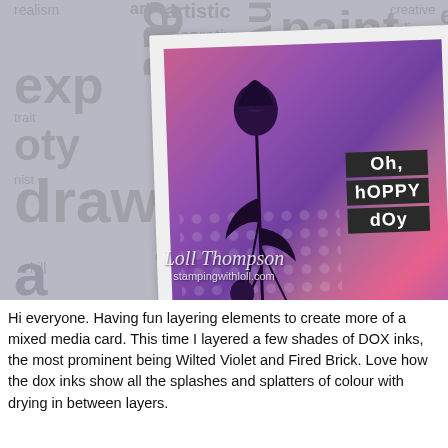[Figure (photo): A handmade mixed media greeting card with a purple and pink background featuring thistle flower silhouettes, text stamps reading 'Oh, happy day', placed on a white cardstock against an art-themed word cloud background. Watermark reads 'Loll Thompson / stampingwithloll.com'.]
Hi everyone.  Having fun layering elements to create more of a mixed media card.  This time I layered a few shades of DOX inks, the most prominent being Wilted Violet and Fired Brick.  Love how the dox inks show all the splashes and splatters of colour with drying in between layers.